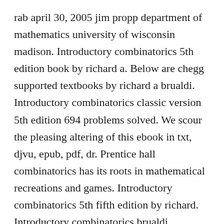rab april 30, 2005 jim propp department of mathematics university of wisconsin madison. Introductory combinatorics 5th edition book by richard a. Below are chegg supported textbooks by richard a brualdi. Introductory combinatorics classic version 5th edition 694 problems solved. We scour the pleasing altering of this ebook in txt, djvu, epub, pdf, dr. Prentice hall combinatorics has its roots in mathematical recreations and games. Introductory combinatorics 5th fifth edition by richard. Introductory combinatorics brualdi